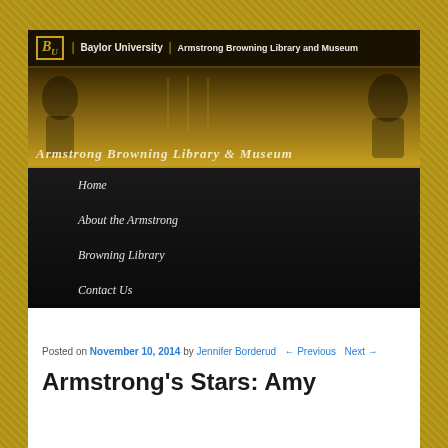[Figure (screenshot): Baylor University Armstrong Browning Library and Museum website header banner with golden/dark color scheme, search bar, and decorative portraits]
Home
About the Armstrong
Browning Library
Contact Us
Posted on November 10, 2014 by Jennifer Borderud  ← Previous  Next →
Armstrong's Stars: Amy